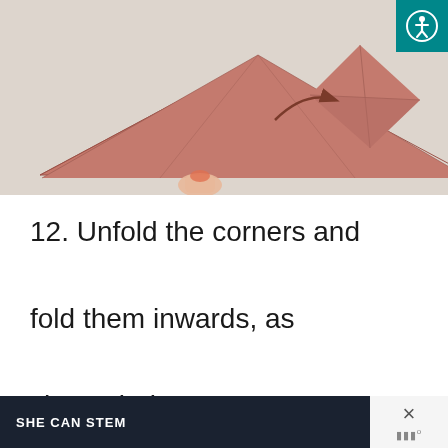[Figure (photo): A photo showing two origami paper shapes on a white background: a large flat triangle (reddish-brown paper) with a finger pressing on it, and a smaller folded square/house shape to the right with a curved arrow pointing to it, indicating the transformation step.]
12. Unfold the corners and fold them inwards, as shown below.
SHE CAN STEM